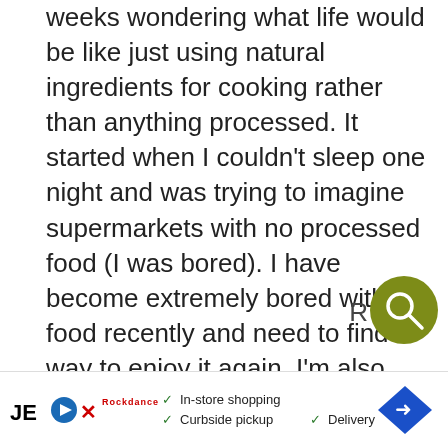weeks wondering what life would be like just using natural ingredients for cooking rather than anything processed. It started when I couldn't sleep one night and was trying to imagine supermarkets with no processed food (I was bored). I have become extremely bored with food recently and need to find a way to enjoy it again. I'm also trying to get fit and eat more healthily. I think I'm going to spend a long time researching this site to find the inspiration I need.
Many thanks
Ali
[Figure (other): Olive/dark-yellow circular search button icon with magnifying glass symbol]
[Figure (other): Advertisement banner: in-store shopping, curbside pickup, delivery options with navigation arrow icon]